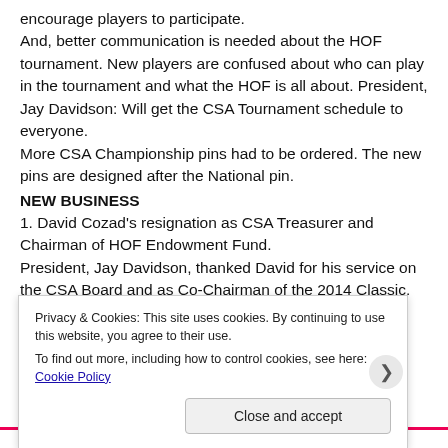encourage players to participate.
And, better communication is needed about the HOF tournament. New players are confused about who can play in the tournament and what the HOF is all about. President, Jay Davidson: Will get the CSA Tournament schedule to everyone.
More CSA Championship pins had to be ordered. The new pins are designed after the National pin.
NEW BUSINESS
1. David Cozad's resignation as CSA Treasurer and Chairman of HOF Endowment Fund.
President, Jay Davidson, thanked David for his service on the CSA Board and as Co-Chairman of the 2014 Classic. His
Privacy & Cookies: This site uses cookies. By continuing to use this website, you agree to their use. To find out more, including how to control cookies, see here: Cookie Policy
Close and accept